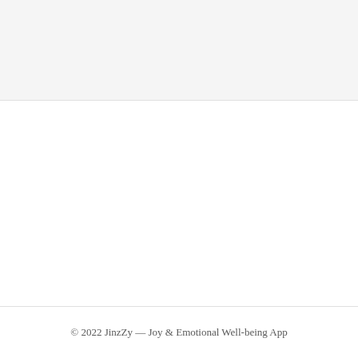© 2022 JinzZy — Joy & Emotional Well-being App